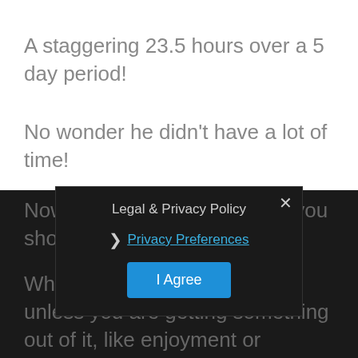A staggering 23.5 hours over a 5 day period!
No wonder he didn’t have a lot of time!
I asked him whether he was enjoying watching the TV or whether he had nothing better to do.
“I just put it on and watch whatever is on” the client replied.
Now I am not one to say that you shouldn’t watch TV, far from it.
What I am saying ho... that unless you are getting something out of it, like enjoyment or
Legal & Privacy Policy
Privacy Preferences
I Agree